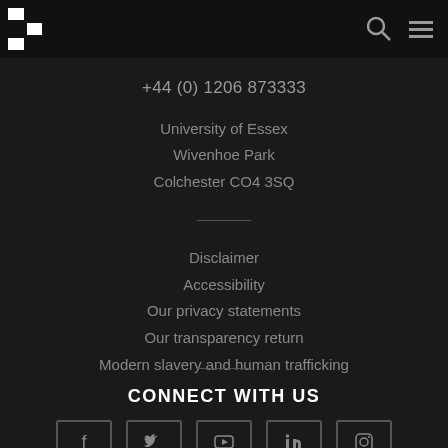University of Essex navigation header with logo and icons
+44 (0) 1206 873333
University of Essex
Wivenhoe Park
Colchester CO4 3SQ
Disclaimer
Accessibility
Our privacy statements
Our transparency return
Modern slavery and human trafficking
CONNECT WITH US
[Figure (illustration): Social media icons: Facebook, Twitter, YouTube, LinkedIn, Instagram in bordered boxes]